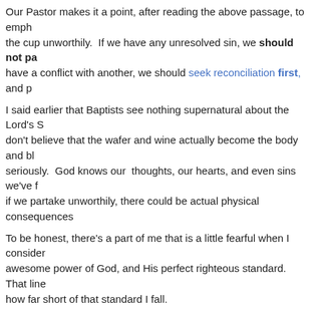Our Pastor makes it a point, after reading the above passage, to emphasize the cup unworthily. If we have any unresolved sin, we should not partake. If we have a conflict with another, we should seek reconciliation first, and p...
I said earlier that Baptists see nothing supernatural about the Lord's S... don't believe that the wafer and wine actually become the body and bl... seriously. God knows our thoughts, our hearts, and even sins we've f... if we partake unworthily, there could be actual physical consequences...
To be honest, there's a part of me that is a little fearful when I consider... awesome power of God, and His perfect righteous standard. That line... how far short of that standard I fall.
Which is exactly the point.
The purpose of celebrating the Lord's Supper is to remind us of G... how can we understand the true mercy inherent in that sacrifice if we d... undeserving we are.
Accepting that fact allows us to truly comprehend the loving-kindness,... serve. It gives extra emphasis to the message of verses 23-26. That ... for us – unworthy sinners.. Wretched beings that we are. The selfless... understood more fully by recognizing our own undeserving nature.
In short, it's an opportunity to recognize just how wretched we are, and... Praise be to God in the highest! Holy, Holy, Holy is His name, and tha...